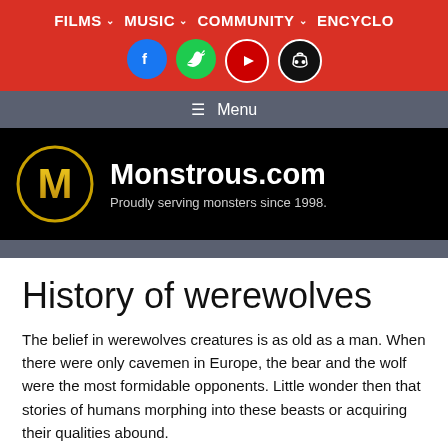FILMS  MUSIC  COMMUNITY  ENCYCLO
[Figure (logo): Social media icons: Facebook (blue circle), Twitter (green circle), YouTube (red circle), Discord (black circle)]
≡ Menu
[Figure (logo): Monstrous.com logo: gold M letter in a circle on black background, with site name Monstrous.com and tagline Proudly serving monsters since 1998.]
History of werewolves
The belief in werewolves creatures is as old as a man. When there were only cavemen in Europe, the bear and the wolf were the most formidable opponents. Little wonder then that stories of humans morphing into these beasts or acquiring their qualities abound.